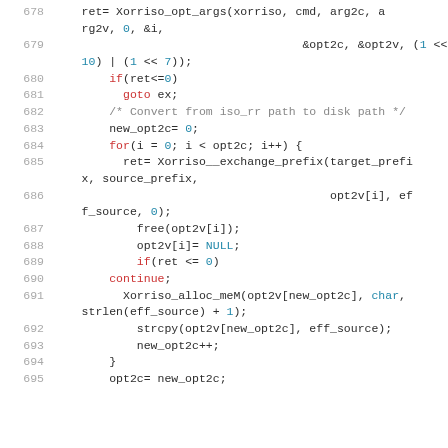[Figure (screenshot): Source code listing in C, lines 678-695, showing Xorriso function calls with syntax highlighting. Keywords in red, numbers/NULL in teal, comments in gray, regular code in dark.]